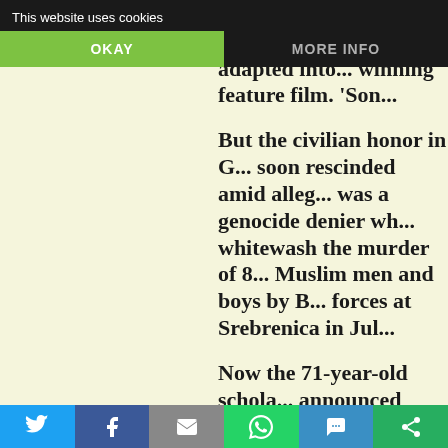This website uses cookies  OKAY  MORE INFO
Nazi death camps. Years earlier, his research was adapted into an award-winning feature film. 'Son...
But the civilian honor in G... was soon rescinded amid allegations he was a genocide denier who sought to whitewash the murder of 8,000 Muslim men and boys by Bosnian Serb forces at Srebrenica in Jul...
Now the 71-year-old scholar... announced plans to revise a key war crimes report he co-w... with Serb nationalists, again facing accusations of sacrificing historical accuracy to a nationalist narrative.
He allegedly has inflated th...
Social share bar: Twitter, Facebook, Email, WhatsApp, SMS, Other